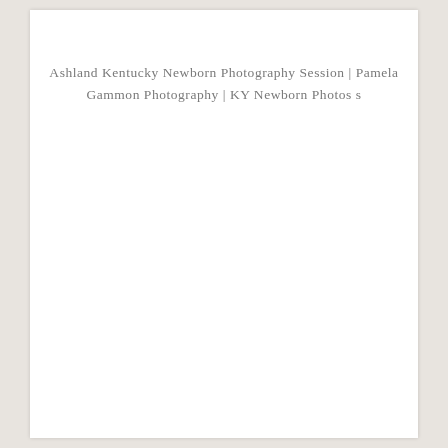Ashland Kentucky Newborn Photography Session | Pamela Gammon Photography | KY Newborn Photos s